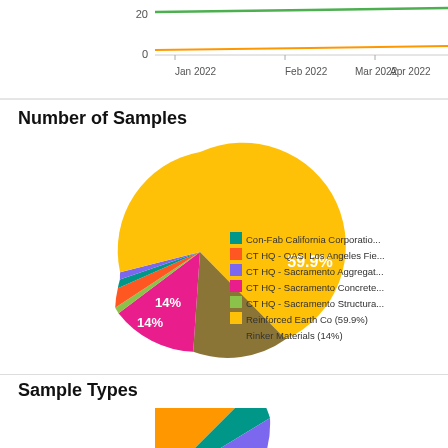[Figure (continuous-plot): Top portion of a line chart showing data from Jan 2022 to May 2022, y-axis shows values 0 and 20, with green and orange lines visible]
Number of Samples
[Figure (pie-chart): Number of Samples]
Sample Types
[Figure (pie-chart): Bottom portion of a pie chart for Sample Types, partially visible]